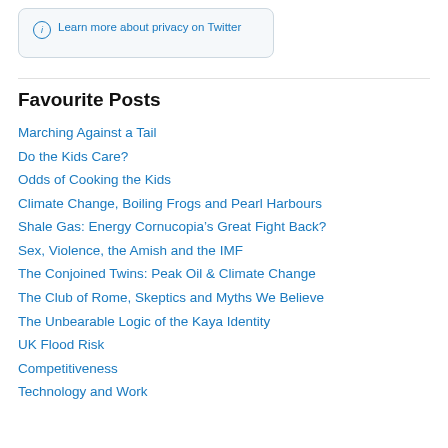[Figure (screenshot): Twitter privacy info box with 'Learn more about privacy on Twitter' link and info icon]
Favourite Posts
Marching Against a Tail
Do the Kids Care?
Odds of Cooking the Kids
Climate Change, Boiling Frogs and Pearl Harbours
Shale Gas: Energy Cornucopia’s Great Fight Back?
Sex, Violence, the Amish and the IMF
The Conjoined Twins: Peak Oil & Climate Change
The Club of Rome, Skeptics and Myths We Believe
The Unbearable Logic of the Kaya Identity
UK Flood Risk
Competitiveness
Technology and Work